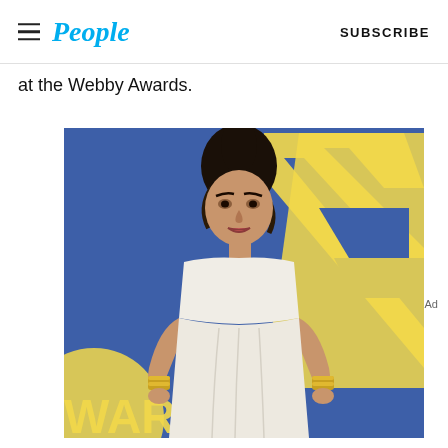People | SUBSCRIBE
at the Webby Awards.
[Figure (photo): Woman in white crop top and high-waisted white pants with gold cuff bracelets posing at CFDA Fashion Awards red carpet with blue backdrop showing yellow letter A]
Ad